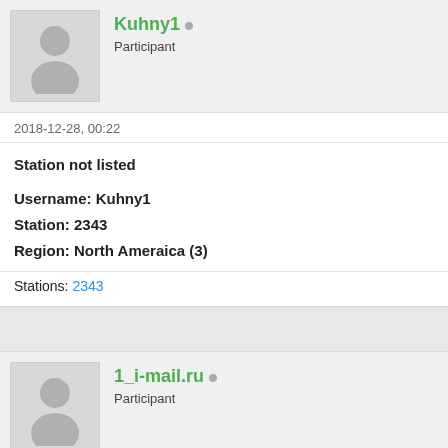Kuhny1 — Participant
2018-12-28, 00:22
Station not listed

Username: Kuhny1
Station: 2343
Region: North Ameraica (3)
Stations: 2343
1_i-mail.ru — Participant
2019-01-11, 09:18